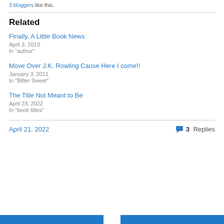3 bloggers like this.
Related
Finally, A Little Book News
April 3, 2013
In "author"
Move Over J.K. Rowling Cause Here I come!!
January 3, 2011
In "Bitter Sweet"
The Title Not Meant to Be
April 23, 2022
In "book titles"
April 21, 2022
3 Replies